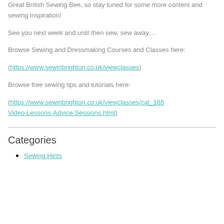Great British Sewing Bee, so stay tuned for some more content and sewing inspiration!
See you next week and until then sew, sew away....
Browse Sewing and Dressmaking Courses and Classes here:
(https://www.sewinbrighton.co.uk/viewclasses)
Browse free sewing tips and tutorials here:
(https://www.sewinbrighton.co.uk/viewclasses/cat_165 Video-Lessons-Advice-Sessions.html)
Categories
Sewing Hints